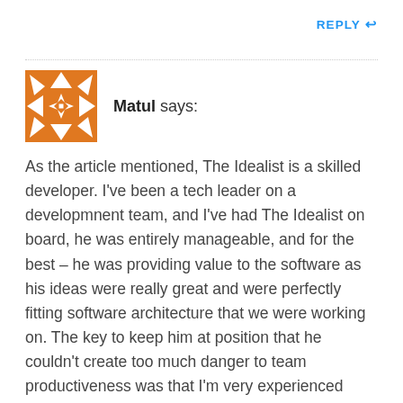REPLY ↩
Matul says:
As the article mentioned, The Idealist is a skilled developer. I've been a tech leader on a developmnent team, and I've had The Idealist on board, he was entirely manageable, and for the best – he was providing value to the software as his ideas were really great and were perfectly fitting software architecture that we were working on. The key to keep him at position that he couldn't create too much danger to team productiveness was that I'm very experienced developer with many years of experience and I've been respected by the team I was